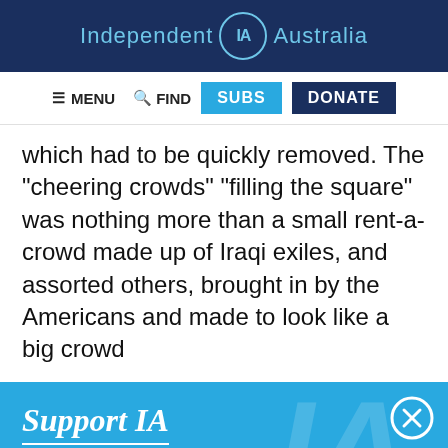Independent IA Australia
≡ MENU  🔍 FIND  SUBS  DONATE
which had to be quickly removed. The "cheering crowds" "filling the square" was nothing more than a small rent-a-crowd made up of Iraqi exiles, and assorted others, brought in by the Americans and made to look like a big crowd
Support IA
Subscribe to IA and investigate Australia today.
Close  Subscribe  Donate